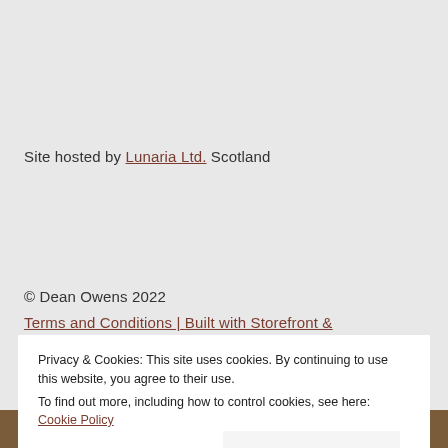Site hosted by Lunaria Ltd. Scotland
© Dean Owens 2022
Terms and Conditions | Built with Storefront &
Privacy & Cookies: This site uses cookies. By continuing to use this website, you agree to their use.
To find out more, including how to control cookies, see here: Cookie Policy
Close and accept